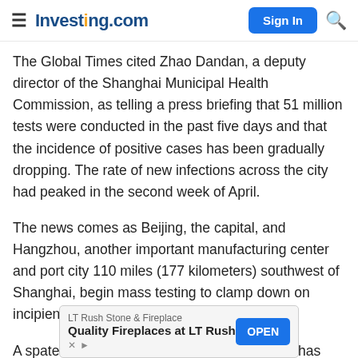≡ Investing.com | Sign In 🔍
The Global Times cited Zhao Dandan, a deputy director of the Shanghai Municipal Health Commission, as telling a press briefing that 51 million tests were conducted in the past five days and that the incidence of positive cases has been gradually dropping. The rate of new infections across the city had peaked in the second week of April.
The news comes as Beijing, the capital, and Hangzhou, another important manufacturing center and port city 110 miles (177 kilometers) southwest of Shanghai, begin mass testing to clamp down on incipient COVID-19 outbreaks of their own.
A spate of COVID-19 outbreaks across China has badly hit economic activity in the last two months, with retail
[Figure (other): Advertisement banner: LT Rush Stone & Fireplace — Quality Fireplaces at LT Rush — OPEN button]